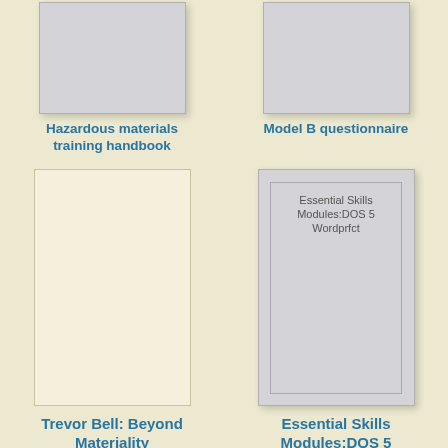[Figure (illustration): Book cover thumbnail for Hazardous materials training handbook (gray placeholder)]
Hazardous materials training handbook
[Figure (illustration): Book cover thumbnail for Model B questionnaire (gray placeholder)]
Model B questionnaire
[Figure (illustration): Book cover (cream/beige) for Trevor Bell: Beyond Materiality]
Trevor Bell: Beyond Materiality
[Figure (illustration): Book cover (gray) for Essential Skills Modules:DOS 5 Wordprfct with inner text label]
Essential Skills Modules:DOS 5 Wordprfct
[Figure (illustration): Partial book cover thumbnail at bottom left (gray placeholder)]
[Figure (illustration): Partial book cover thumbnail at bottom right (gray placeholder)]